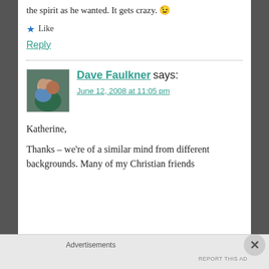the spirit as he wanted. It gets crazy. 😉
★ Like
Reply
Dave Faulkner says:
June 12, 2008 at 11:05 pm
Katherine,
Thanks – we're of a similar mind from different backgrounds. Many of my Christian friends
Advertisements